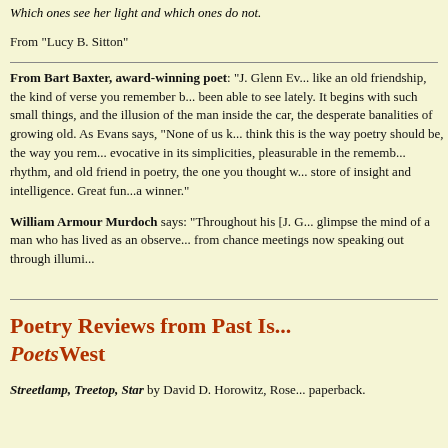Which ones see her light and which ones do not.
From "Lucy B. Sitton"
From Bart Baxter, award-winning poet: "J. Glenn Ev... like an old friendship, the kind of verse you remember b... been able to see lately. It begins with such small things, and the illusion of the man inside the car, the desperate banalities of growing old. As Evans says, "None of us k... think this is the way poetry should be, the way you rem... evocative in its simplicities, pleasurable in the rememb... rhythm, and old friend in poetry, the one you thought w... store of insight and intelligence. Great fun...a winner."
William Armour Murdoch says: "Throughout his [J. G... glimpse the mind of a man who has lived as an observe... from chance meetings now speaking out through illumi..."
Poetry Reviews from Past Is... PoetsWest
Streetlamp, Treetop, Star by David D. Horowitz, Rose... paperback.